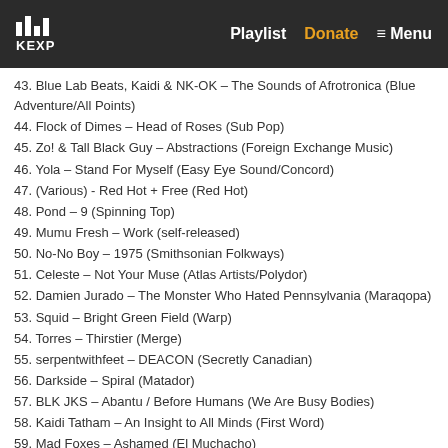KEXP — Playlist   Donate   ≡ Menu
43. Blue Lab Beats, Kaidi & NK-OK – The Sounds of Afrotronica (Blue Adventure/All Points)
44. Flock of Dimes – Head of Roses (Sub Pop)
45. Zo! & Tall Black Guy – Abstractions (Foreign Exchange Music)
46. Yola – Stand For Myself (Easy Eye Sound/Concord)
47. (Various) - Red Hot + Free (Red Hot)
48. Pond – 9 (Spinning Top)
49. Mumu Fresh – Work (self-released)
50. No-No Boy – 1975 (Smithsonian Folkways)
51. Celeste – Not Your Muse (Atlas Artists/Polydor)
52. Damien Jurado – The Monster Who Hated Pennsylvania (Maraqopa)
53. Squid – Bright Green Field (Warp)
54. Torres – Thirstier (Merge)
55. serpentwithfeet – DEACON (Secretly Canadian)
56. Darkside – Spiral (Matador)
57. BLK JKS – Abantu / Before Humans (We Are Busy Bodies)
58. Kaidi Tatham – An Insight to All Minds (First Word)
59. Mad Foxes – Ashamed (El Muchacho)
60. Rochelle Jordan – Play With the Changes (Young Art)